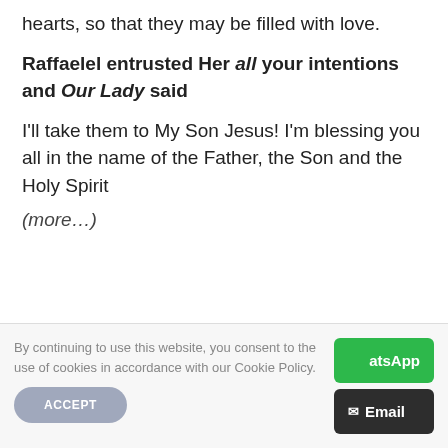hearts, so that they may be filled with love.
Raffaelel entrusted Her all your intentions and Our Lady said
I'll take them to My Son Jesus! I'm blessing you all in the name of the Father, the Son and the Holy Spirit
(more…)
By continuing to use this website, you consent to the use of cookies in accordance with our Cookie Policy.
ACCEPT
atsApp
Email